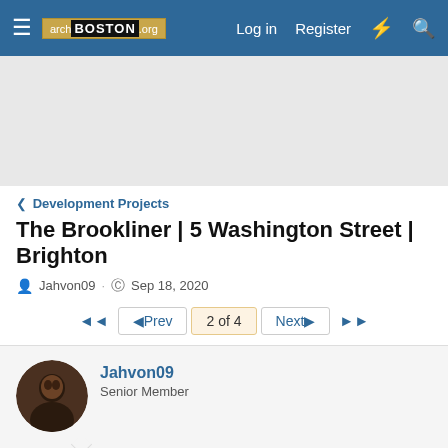archBOSTON.org  Log in  Register
[Figure (other): Gray advertisement/banner area]
< Development Projects
The Brookliner | 5 Washington Street | Brighton
Jahvon09 · Sep 18, 2020
◄◄  ◄Prev  2 of 4  Next►  ►►
Jahvon09
Senior Member
Oct 13, 2021  #21
Jahvon09 said: ⊕